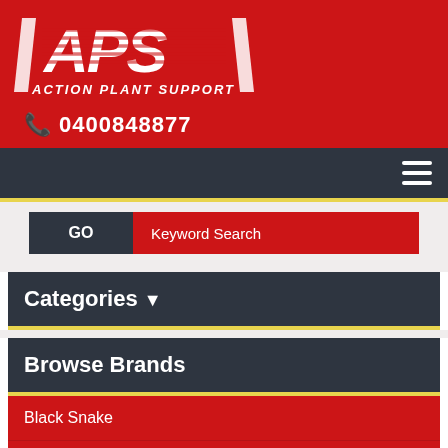[Figure (logo): APS Action Plant Support logo — white stylized text on red background]
📞 0400848877
[Figure (other): Hamburger menu icon (three horizontal lines) on dark nav bar]
GO  Keyword Search
Categories ▾
Browse Brands
Black Snake
Gulf Western Oil